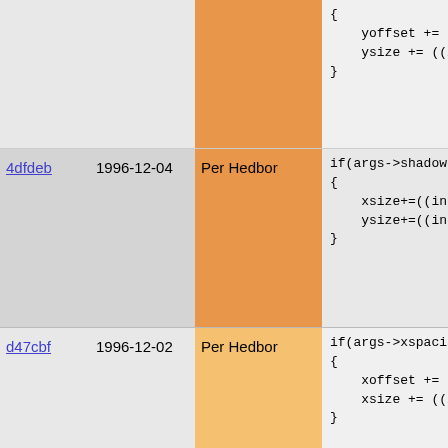| Hash | Date | Author | Code |
| --- | --- | --- | --- |
|  |  |  | {
    yoffset += (int)args
    ysize += ((int)args-
} |
| 4dfdeb | 1996-12-04 | Per Hedbor | if(args->shadow)
{
    xsize+=((int)(args->
    ysize+=((int)(args->
} |
| d47cbf | 1996-12-02 | Per Hedbor | if(args->xspacing)
{
    xoffset += (int)args
    xsize += ((int)args-
}

if(args->border)
{
    xoffset += (int)args
    yoffset += (int)args
    xsize += ((int)args-
    ysize += ((int)args-
} |
| 4dd97c | 1996-12-04 | Per Hedbor | array (int) bgcolor =
array (int) fgcolor = |